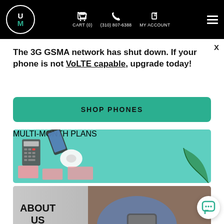UM — CART (0)   (310) 807-6388   MY ACCOUNT
The 3G GSMA network has shut down. If your phone is not VoLTE capable, upgrade today!
SHOP PHONES
[Figure (illustration): Multi-Month Plans promotional banner with teal background showing a calculator, phone, earbuds, pink sticky notes, and a plant leaf. Text reads MULTI-MONTH PLANS.]
[Figure (photo): About Us banner showing a person in a denim jacket holding a smartphone. Left side has gray background with text ABOUT US.]